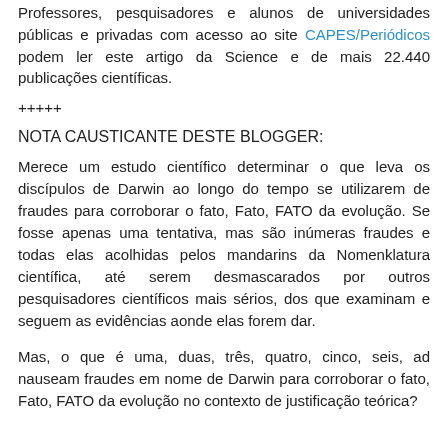Professores, pesquisadores e alunos de universidades públicas e privadas com acesso ao site CAPES/Periódicos podem ler este artigo da Science e de mais 22.440 publicações científicas.
+++++
NOTA CAUSTICANTE DESTE BLOGGER:
Merece um estudo científico determinar o que leva os discípulos de Darwin ao longo do tempo se utilizarem de fraudes para corroborar o fato, Fato, FATO da evolução. Se fosse apenas uma tentativa, mas são inúmeras fraudes e todas elas acolhidas pelos mandarins da Nomenklatura científica, até serem desmascarados por outros pesquisadores científicos mais sérios, dos que examinam e seguem as evidências aonde elas forem dar.
Mas, o que é uma, duas, três, quatro, cinco, seis, ad nauseam fraudes em nome de Darwin para corroborar o fato, Fato, FATO da evolução no contexto de justificação teórica?